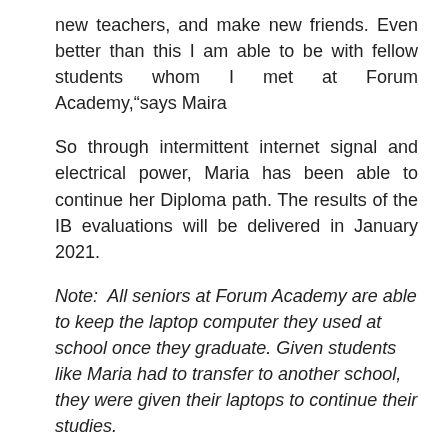new teachers, and make new friends. Even better than this I am able to be with fellow students whom I met at Forum Academy,“says Maira
So through intermittent internet signal and electrical power, Maria has been able to continue her Diploma path. The results of the IB evaluations will be delivered in January 2021.
Note:  All seniors at Forum Academy are able to keep the laptop computer they used at school once they graduate. Given students like Maria had to transfer to another school, they were given their laptops to continue their studies.
Although Maria has also been able to continue her studies to obtain her high school diploma through modules (packets delivered to students so that they